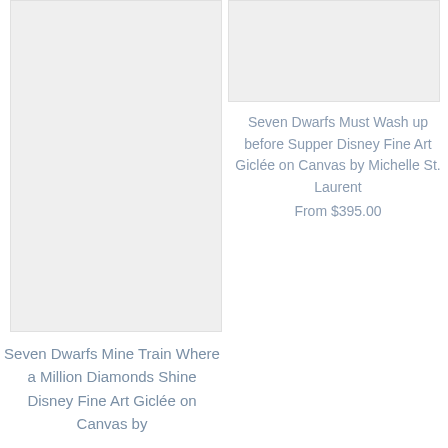[Figure (photo): Product image placeholder (light gray rectangle) for Seven Dwarfs Mine Train artwork, left column]
Seven Dwarfs Mine Train Where a Million Diamonds Shine Disney Fine Art Giclée on Canvas by
[Figure (photo): Product image placeholder (light gray rectangle) for Seven Dwarfs Must Wash up before Supper artwork, right column]
Seven Dwarfs Must Wash up before Supper Disney Fine Art Giclée on Canvas by Michelle St. Laurent
From $395.00